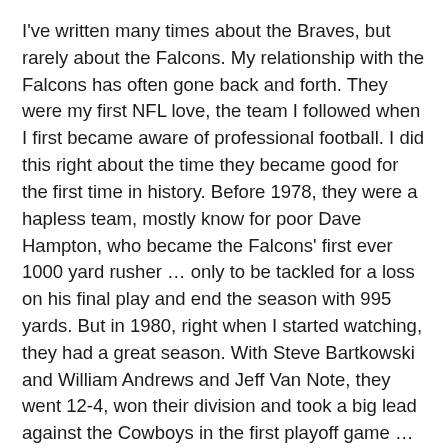I've written many times about the Braves, but rarely about the Falcons. My relationship with the Falcons has often gone back and forth. They were my first NFL love, the team I followed when I first became aware of professional football. I did this right about the time they became good for the first time in history. Before 1978, they were a hapless team, mostly know for poor Dave Hampton, who became the Falcons' first ever 1000 yard rusher … only to be tackled for a loss on his final play and end the season with 995 yards. But in 1980, right when I started watching, they had a great season. With Steve Bartkowski and William Andrews and Jeff Van Note, they went 12-4, won their division and took a big lead against the Cowboys in the first playoff game … which they proceeded to blow. One of my first clear memories of football is crying at the end of that game (I was eight).
Over the years, the Falcons would occasionally flirt with contention but mostly be a doormat. In 1986, they won their